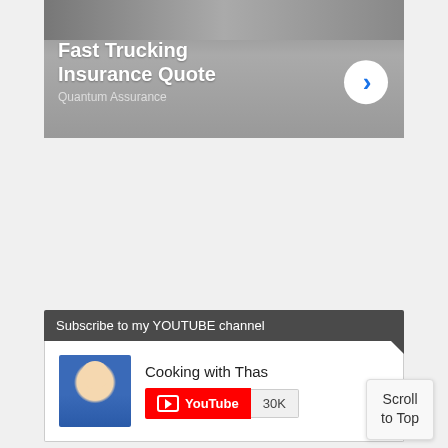[Figure (screenshot): Ad banner for Fast Trucking Insurance Quote by Quantum Assurance, with photo background, bold white text headline, and a circular arrow button]
[Figure (screenshot): Subscribe to my YouTube channel widget with Cooking with Thas channel name, YouTube subscribe button, and 30K subscriber count]
[Figure (screenshot): Buy Instant Pot today widget showing Amazon's Choice badge and America's #1 Most Loved medal with partial product image]
Scroll to Top